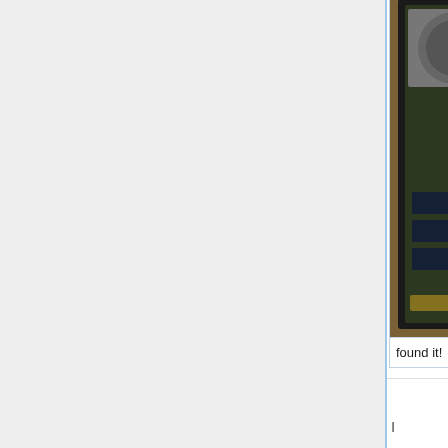[Figure (photo): Laptop motherboard with back panel removed, showing internal components. A red arrow points to a specific component. Photo is partially cropped on right side.]
found it!
[Figure (photo): Partially visible photo on the right side, showing what appears to be electronic components under something.]
under the
I
[Figure (photo): Close-up macro photo of an SOIC flash chip on a green PCB. The chip reads: MXIC MX 25LB44SE M2I-10G 3L338100 L104095. Test points TP45 and other labels visible. Numbers 30 and 00 visible on left side.]
The flash chip
recommend using SOIC clip. Depending on the flasher you use, you may have to